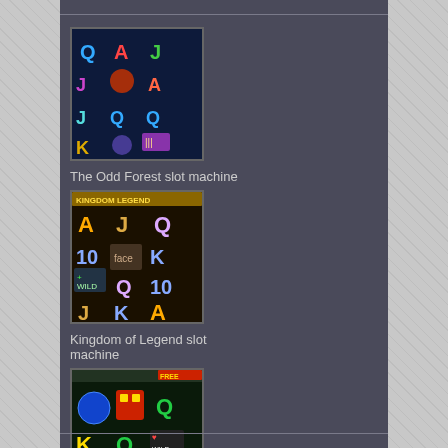[Figure (screenshot): The Odd Forest slot machine thumbnail showing colorful letter symbols Q, A, J, K on dark blue background]
The Odd Forest slot machine
[Figure (screenshot): Kingdom of Legend slot machine thumbnail showing A, J, Q, 10, K symbols with WILD on dark background with golden header]
Kingdom of Legend slot machine
[Figure (screenshot): Count Duckula slot machine thumbnail showing K, Q, J symbols with WILD on green/dark background]
Count Duckula slot machine
Contact Us